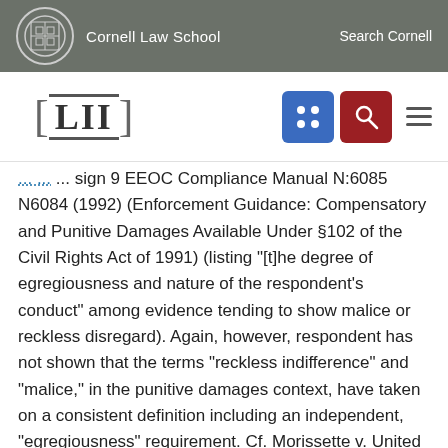Cornell Law School   Search Cornell
[Figure (logo): LII Legal Information Institute logo with navigation icons]
Manual N:6085 N6084 (1992) (Enforcement Guidance: Compensatory and Punitive Damages Available Under §102 of the Civil Rights Act of 1991) (listing "[t]he degree of egregiousness and nature of the respondent's conduct" among evidence tending to show malice or reckless disregard). Again, however, respondent has not shown that the terms "reckless indifference" and "malice," in the punitive damages context, have taken on a consistent definition including an independent, "egregiousness" requirement. Cf. Morissette v. United States, 342 U.S. 246, 263 (1952) ("[W]here Congress borrows terms of art in which are accumulated the legal tradition and